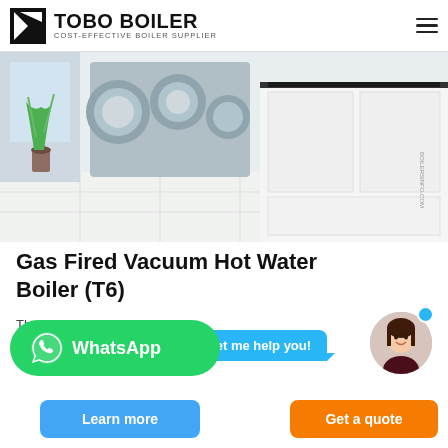TOBO BOILER — COST-EFFECTIVE BOILER SUPPLIER
[Figure (photo): Modern white kitchen or showroom interior with cylindrical boiler components visible on the wall and white cabinetry in the foreground]
Gas Fired Vacuum Hot Water Boiler (T6)
Thermal power: 0.7-2.8MW
Thermal efficiency: ≥105.5%
Hey, let me help you!
WhatsApp
Learn more
Get a quote